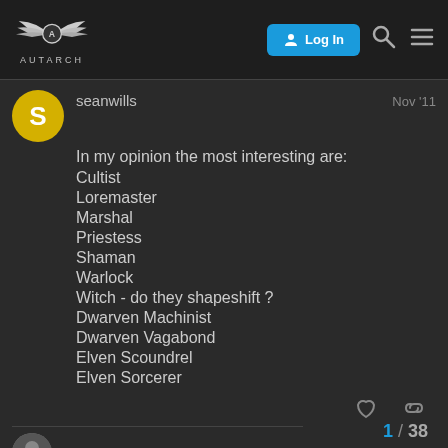AUTARCH — Log In
seanwills   Nov '11
In my opinion the most interesting are:
Cultist
Loremaster
Marshal
Priestess
Shaman
Warlock
Witch - do they shapeshift ?
Dwarven Machinist
Dwarven Vagabond
Elven Scoundrel
Elven Sorcerer
Tavis
1 / 38